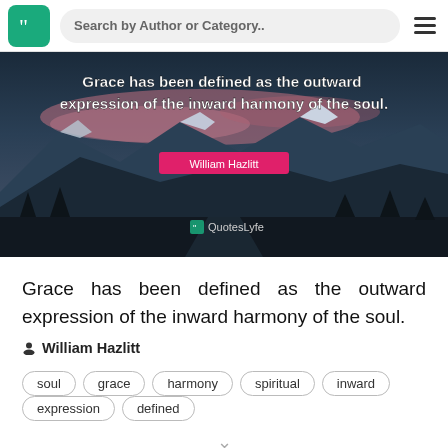Search by Author or Category..
[Figure (photo): Mountain landscape at dusk with snow-capped peaks, dark trees in foreground, and pink clouds. Overlaid with bold white text: 'Grace has been defined as the outward expression of the inward harmony of the soul.' with a pink label 'William Hazlitt' and a QuotesLyfe watermark.]
Grace has been defined as the outward expression of the inward harmony of the soul.
William Hazlitt
soul
grace
harmony
spiritual
inward
expression
defined